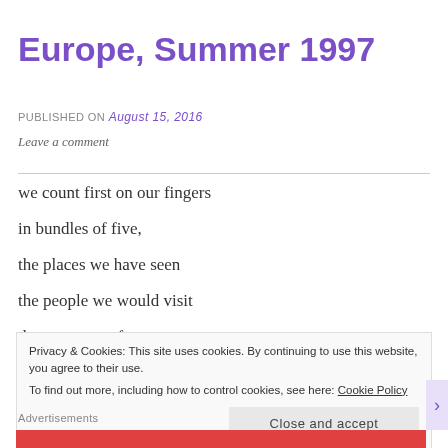Europe, Summer 1997
PUBLISHED ON August 15, 2016
Leave a comment
we count first on our fingers
in bundles of five,
the places we have seen
the people we would visit
then we count from memory
Privacy & Cookies: This site uses cookies. By continuing to use this website, you agree to their use.
To find out more, including how to control cookies, see here: Cookie Policy
Close and accept
Advertisements